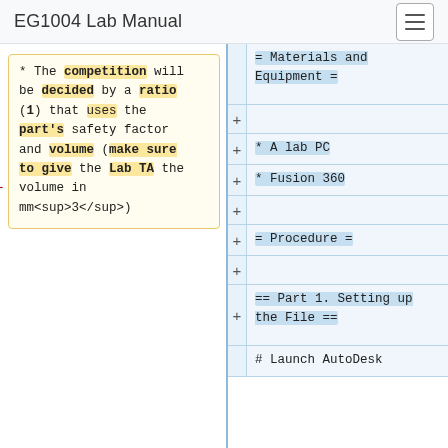EG1004 Lab Manual
* The competition will be decided by a ratio (1) that uses the part's safety factor and volume (make sure to give the Lab TA the volume in mm<sup>3</sup>)
= Materials and Equipment =
* A lab PC
* Fusion 360
= Procedure =
== Part 1. Setting up the File ==
# Launch AutoDesk